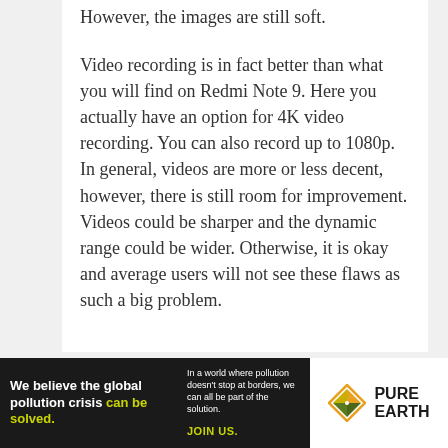However, the images are still soft.
Video recording is in fact better than what you will find on Redmi Note 9. Here you actually have an option for 4K video recording. You can also record up to 1080p. In general, videos are more or less decent, however, there is still room for improvement. Videos could be sharper and the dynamic range could be wider. Otherwise, it is okay and average users will not see these flaws as such a big problem.
[Figure (other): Advertisement banner for Pure Earth organization. Black background on left with text 'We believe the global pollution crisis can be solved.' and smaller text 'In a world where pollution doesn't stop at borders, we can all be part of the solution. JOIN US.' White background on right with Pure Earth logo (diamond/chevron shape in orange/yellow/green) and text 'PURE EARTH'.]